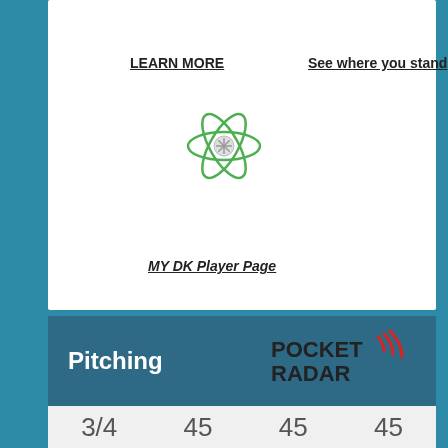LEARN MORE
See where you stand
[Figure (illustration): Atom/molecule icon with orbiting ellipses in green and a small snowflake/star symbol in the center]
MY DK Player Page
Pitching
[Figure (logo): Pocket Radar logo with red signal waves and black text]
3/4   45   45   45